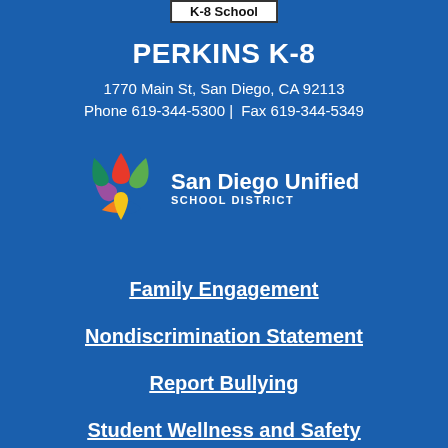K-8 School
PERKINS K-8
1770 Main St, San Diego, CA 92113
Phone 619-344-5300 | Fax 619-344-5349
[Figure (logo): San Diego Unified School District logo with colorful star/arrow shapes and text]
Family Engagement
Nondiscrimination Statement
Report Bullying
Student Wellness and Safety